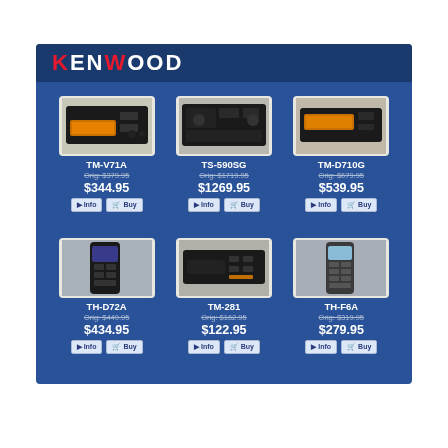[Figure (logo): Kenwood logo in white on dark blue header]
[Figure (photo): Kenwood TM-V71A mobile transceiver radio]
TM-V71A
Orig: $379.95
$344.95
[Figure (photo): Kenwood TS-590SG HF transceiver radio]
TS-590SG
Orig: $1719.95
$1269.95
[Figure (photo): Kenwood TM-D710G mobile transceiver radio]
TM-D710G
Orig: $679.95
$539.95
[Figure (photo): Kenwood TH-D72A handheld transceiver radio]
TH-D72A
Orig: $449.95
$434.95
[Figure (photo): Kenwood TM-281 mobile transceiver radio]
TM-281
Orig: $162.95
$122.95
[Figure (photo): Kenwood TH-F6A handheld transceiver radio]
TH-F6A
Orig: $319.95
$279.95